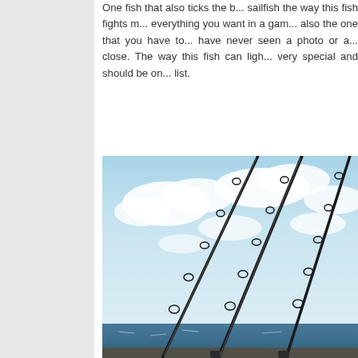One fish that also ticks the b... sailfish the way this fish fights m... everything you want in a gam... also the one that you have to... have never seen a photo or a... close. The way this fish can ligh... very special and should be on... list.
[Figure (photo): Fishing rods silhouetted against a bright blue sky with white clouds, viewed from a boat on the ocean]